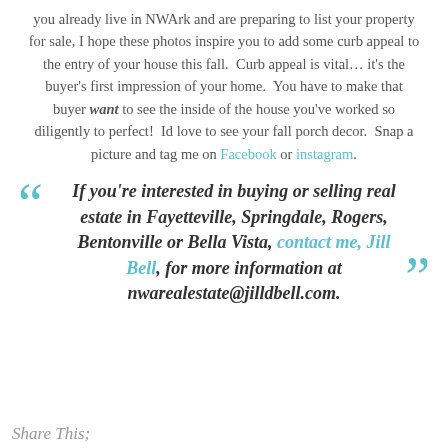you already live in NWArk and are preparing to list your property for sale, I hope these photos inspire you to add some curb appeal to the entry of your house this fall.  Curb appeal is vital… it's the buyer's first impression of your home.  You have to make that buyer want to see the inside of the house you've worked so diligently to perfect!  Id love to see your fall porch decor.  Snap a picture and tag me on Facebook or instagram.
If you're interested in buying or selling real estate in Fayetteville, Springdale, Rogers, Bentonville or Bella Vista, contact me, Jill Bell, for more information at nwarealestate@jilldbell.com.